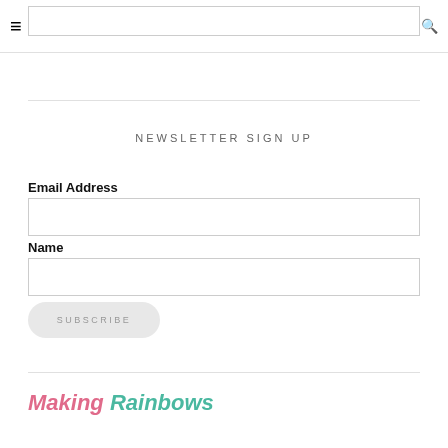≡ f t 🎵 Pinterest G+ ▶ in 🛒 0 🔍
NEWSLETTER SIGN UP
Email Address
Name
SUBSCRIBE
[Figure (logo): Making Rainbows logo in pink and teal italic text]